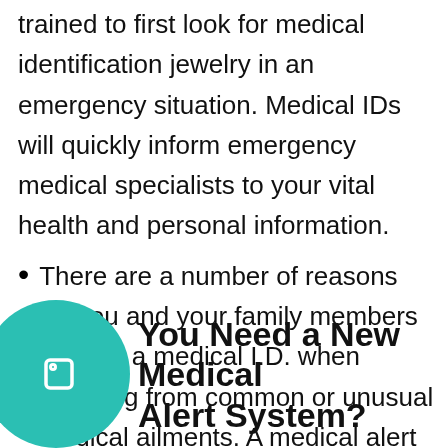trained to first look for medical identification jewelry in an emergency situation. Medical IDs will quickly inform emergency medical specialists to your vital health and personal information.
There are a number of reasons for you and your family members to wear a medical I.D. when suffering from common or unusual medical ailments. A medical alert system will save your life and the lives of those you love.
You Need a New Medical Alert System?